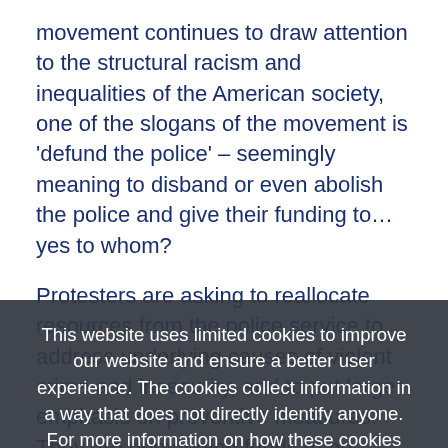movement continues to draw attention to the structural racism and inequalities of the American society, one of the slogans of the movement is 'defund the police' – seemingly meaning to disband or even abolish the police and give their funding to… yes to whom?

Protesters are asking to reallocate resources from the police service to address underlying causes of violent crime and insecurity, and to put larger emphasis on preventive measures. They are demanding funds to be diverted to other public services: the social security health and education systems among other things. Me and my colleagues at the programme for security sector reform at FBA use the term human security underlining the various and interrelated aspects of security a human being need fulfilled to feel secure. Human security encompasses basic needs of food and shelter, education and healthcare, as much as physical security needs.
This website uses limited cookies to improve our website and ensure a better user experience. The cookies collect information in a way that does not directly identify anyone. For more information on how these cookies work, please see our Privacy Policy
Accept